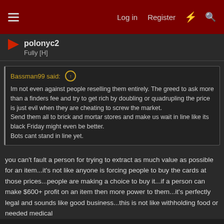Log in | Register | [What's new] | [Search]
polonyc2
Fully [H]
Bassman99 said: ↑
Im not even against people reselling them entirely. The greed to ask more than a finders fee and try to get rich by doubling or quadrupling the price is just evil when they are cheating to screw the market.
Send them all to brick and mortar stores and make us wait in line like its black Friday might even be better.
Bots cant stand in line yet.
you can't fault a person for trying to extract as much value as possible for an item...it's not like anyone is forcing people to buy the cards at those prices...people are making a choice to buy it...if a person can make $600+ profit on an item then more power to them...it's perfectly legal and sounds like good business...this is not like withholding food or needed medical